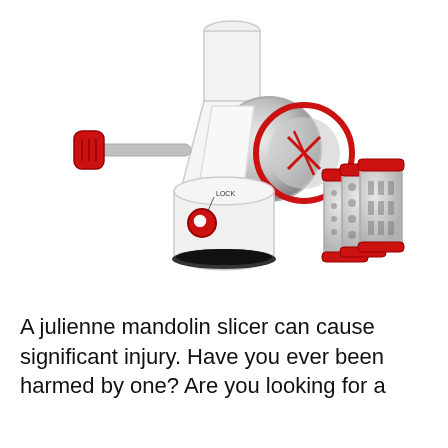[Figure (photo): A rotary drum cheese grater / julienne mandolin slicer with a white and red body, chrome-finish drum housing, red hand crank on the left, suction cup base with black rubber ring, and three interchangeable stainless steel grating drums with red caps arranged to the right of the main unit. White background product photo.]
A julienne mandolin slicer can cause significant injury. Have you ever been harmed by one? Are you looking for a